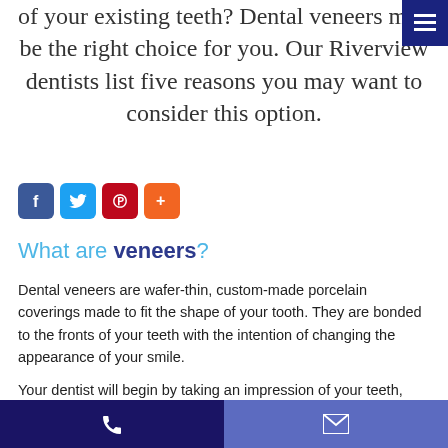help improve the appearance and function of your existing teeth? Dental veneers may be the right choice for you. Our Riverview dentists list five reasons you may want to consider this option.
[Figure (other): Social share buttons: Facebook (blue), Twitter (light blue), Pinterest (red), More/Plus (orange)]
What are veneers?
Dental veneers are wafer-thin, custom-made porcelain coverings made to fit the shape of your tooth. They are bonded to the fronts of your teeth with the intention of changing the appearance of your smile.
Your dentist will begin by taking an impression of your teeth, which will be used to create your custom veneers. The veneers will then be bonded to your natural teeth.
Phone and email contact bar